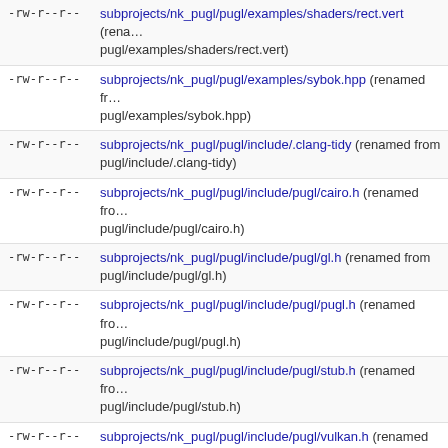-rw-r--r-- subprojects/nk_pugl/pugl/examples/shaders/rect.vert (renamed from pugl/examples/shaders/rect.vert)
-rw-r--r-- subprojects/nk_pugl/pugl/examples/sybok.hpp (renamed from pugl/examples/sybok.hpp)
-rw-r--r-- subprojects/nk_pugl/pugl/include/.clang-tidy (renamed from pugl/include/.clang-tidy)
-rw-r--r-- subprojects/nk_pugl/pugl/include/pugl/cairo.h (renamed from pugl/include/pugl/cairo.h)
-rw-r--r-- subprojects/nk_pugl/pugl/include/pugl/gl.h (renamed from pugl/include/pugl/gl.h)
-rw-r--r-- subprojects/nk_pugl/pugl/include/pugl/pugl.h (renamed from pugl/include/pugl/pugl.h)
-rw-r--r-- subprojects/nk_pugl/pugl/include/pugl/stub.h (renamed from pugl/include/pugl/stub.h)
-rw-r--r-- subprojects/nk_pugl/pugl/include/pugl/vulkan.h (renamed from pugl/include/pugl/vulkan.h)
-rw-r--r-- subprojects/nk_pugl/pugl/pugl.pc.in (renamed from pugl/pugl.pc.in)
-rw-r--r-- subprojects/nk_pugl/pugl/resources/Info.plist.in (renamed from pugl/resources/Info.plist.in)
-rw-r--r-- subprojects/nk_pugl/pugl/resources/pugl.ipe (renamed from pugl/resources/pugl.ipe)
-rw-r--r-- subprojects/nk_pugl/pugl/resources/pugl.png (renamed from pugl/resources/pugl.png)
-rw-r--r-- subprojects/nk_pugl/pugl/resources/pugl.svg (renamed from pugl/resources/pugl.svg)